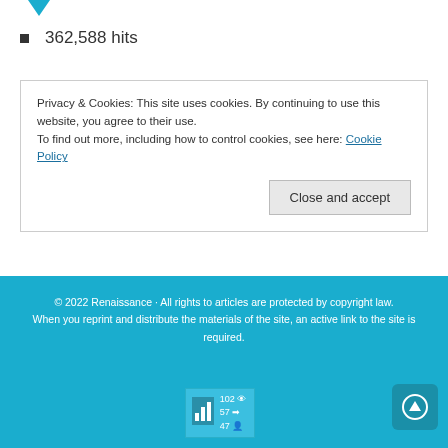362,588 hits
Privacy & Cookies: This site uses cookies. By continuing to use this website, you agree to their use.
To find out more, including how to control cookies, see here: Cookie Policy
Close and accept
© 2022 Renaissance · All rights to articles are protected by copyright law. When you reprint and distribute the materials of the site, an active link to the site is required.